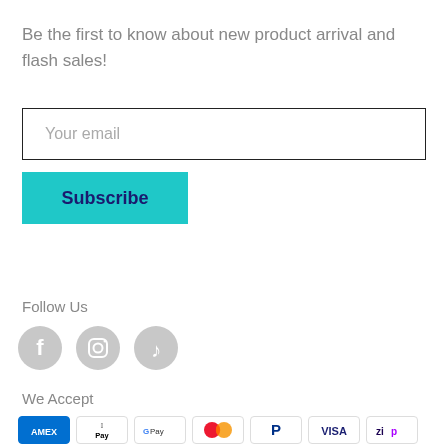Be the first to know about new product arrival and flash sales!
Your email
Subscribe
Follow Us
[Figure (illustration): Three social media icons: Facebook, Instagram, TikTok — all grey circles with white logos]
We Accept
[Figure (illustration): Payment method icons: Amex, Apple Pay, Google Pay, Mastercard, PayPal, Visa, Zip]